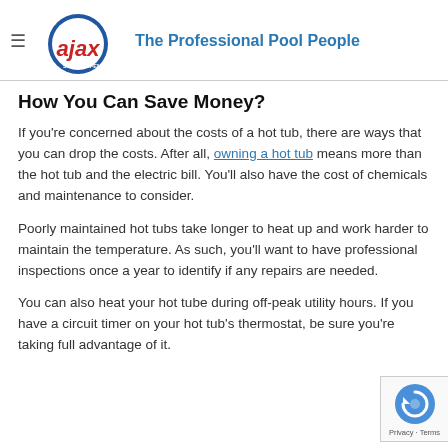ajax — The Professional Pool People
How You Can Save Money?
If you're concerned about the costs of a hot tub, there are ways that you can drop the costs. After all, owning a hot tub means more than the hot tub and the electric bill. You'll also have the cost of chemicals and maintenance to consider.
Poorly maintained hot tubs take longer to heat up and work harder to maintain the temperature. As such, you'll want to have professional inspections once a year to identify if any repairs are needed.
You can also heat your hot tube during off-peak utility hours. If you have a circuit timer on your hot tub's thermostat, be sure you're taking full advantage of it.
[Figure (logo): reCAPTCHA badge with circular arrow logo and Privacy - Terms text]